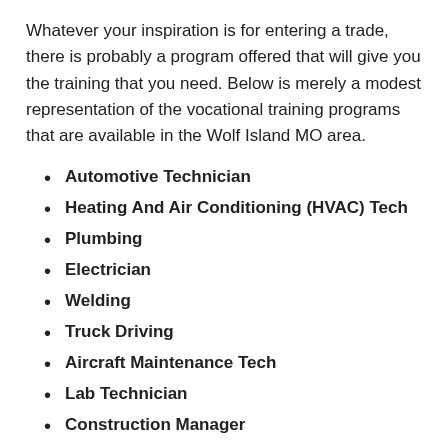Whatever your inspiration is for entering a trade, there is probably a program offered that will give you the training that you need. Below is merely a modest representation of the vocational training programs that are available in the Wolf Island MO area.
Automotive Technician
Heating And Air Conditioning (HVAC) Tech
Plumbing
Electrician
Welding
Truck Driving
Aircraft Maintenance Tech
Lab Technician
Construction Manager
All programs will have varying costs and completion times depending on the trade, type of credential and school. A number of the programs may be completed in a few weeks